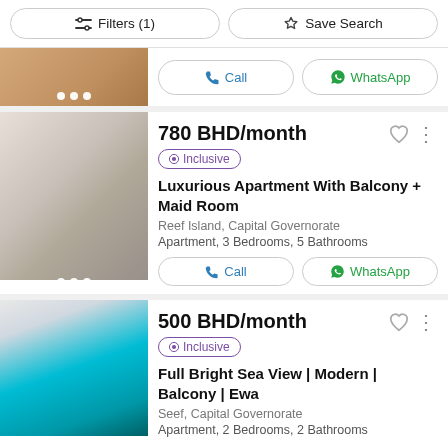Filters (1)  Save Search
[Figure (photo): Partial top listing image, tan/brown interior]
Call  WhatsApp
780 BHD/month
Inclusive
Luxurious Apartment With Balcony + Maid Room
Reef Island, Capital Governorate
Apartment, 3 Bedrooms, 5 Bathrooms
Call  WhatsApp
500 BHD/month
Inclusive
Full Bright Sea View | Modern | Balcony | Ewa
Seef, Capital Governorate
Apartment, 2 Bedrooms, 2 Bathrooms